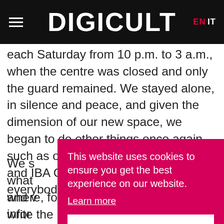DIGICULT  EN  IT
each Saturday from 10 p.m. to 3 a.m., when the centre was closed and only the guard remained. We stayed alone, in silence and peace, and given the dimension of our new space, we began to do other things once again, such as open to the public concerts and IBA Convoca (an open to everybody impro…
We s… what… and v… infor… woul… where, for we felt it was strange to write the home
This website uses cookies to ensure you get the best experience on our website.
Learn more
Got it